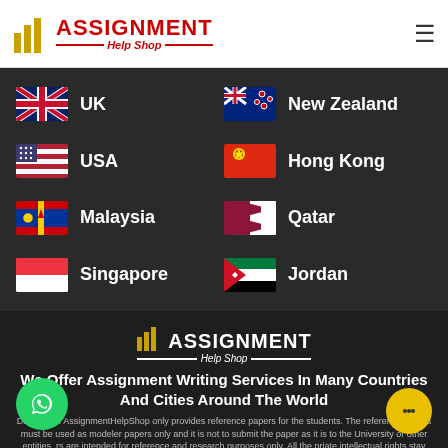[Figure (logo): Assignment Help Shop logo with red text and gold bars]
UK
New Zealand
USA
Hong Kong
Malaysia
Qatar
Singapore
Jordan
[Figure (logo): Assignment Help Shop footer logo in white]
We Offer Assignment Writing Services In Many Countries And Cities Around The World
Disclaimer: AssignmentHelpShop only provides reference papers for the students. The reference papers must be used as modeler papers only and it is not to submit the paper as it is to the University or other entities. rs are intended for reference and research purposes only. All the priate intellectual rights stay with AssignmentHelpShop.com.